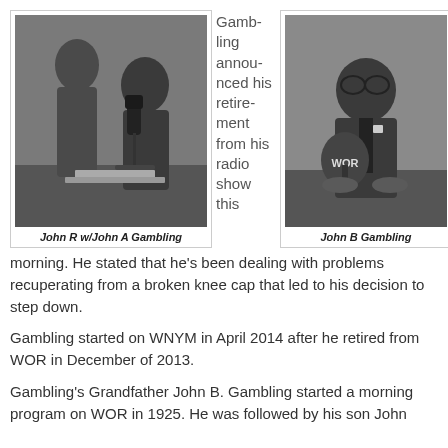[Figure (photo): Black and white photo of John R with John A Gambling at a radio microphone]
John R w/John A Gambling
Gambling announced his retirement from his radio show this morning.
[Figure (photo): Black and white photo of John B Gambling at a WOR radio microphone, smiling]
John B Gambling
morning. He stated that he's been dealing with problems recuperating from a broken knee cap that led to his decision to step down.
Gambling started on WNYM in April 2014 after he retired from WOR in December of 2013.
Gambling's Grandfather John B. Gambling started a morning program on WOR in 1925. He was followed by his son John